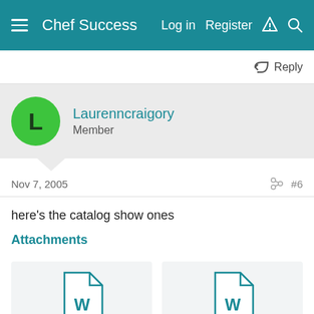Chef Success  Log in  Register
Reply
Laurenncraigory
Member
Nov 7, 2005  #6
here's the catalog show ones
Attachments
[Figure (other): Two Word document file attachment icons side by side]